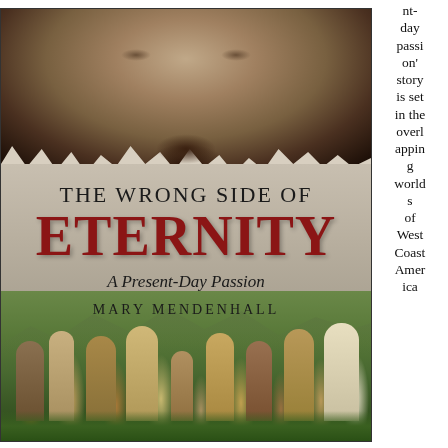[Figure (illustration): Book cover for 'The Wrong Side of Eternity: A Present-Day Passion' by Mary Mendenhall. Top half shows a close-up of a child's face in dark muted tones with a torn paper effect. Middle section shows the title text on a weathered gray background. Bottom shows a group of African people in a green landscape.]
nt-day passion' story is set in the overlapping worlds of West Coast America